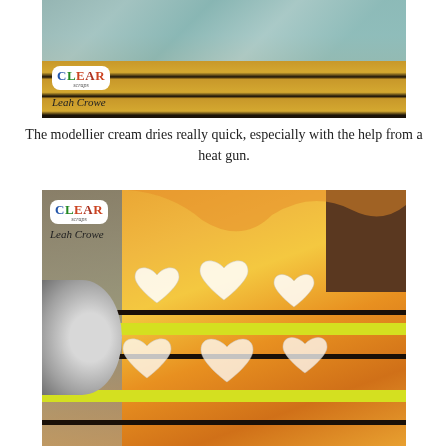[Figure (photo): A photo showing a craft project — foil or metallic surface on top with wooden slat-like structures below. The Clear Scraps logo and 'Leah Crowe' credit appear in the lower-left corner of the image.]
The modellier cream dries really quick, especially with the help from a heat gun.
[Figure (photo): A close-up photo of a craft project showing an orange/yellow wavy-shaped piece with white heart cutouts. A heat gun is visible on the left side. Yellow stripes are visible on the piece. The Clear Scraps logo and 'Leah Crowe' credit appear in the upper-left corner of the image.]